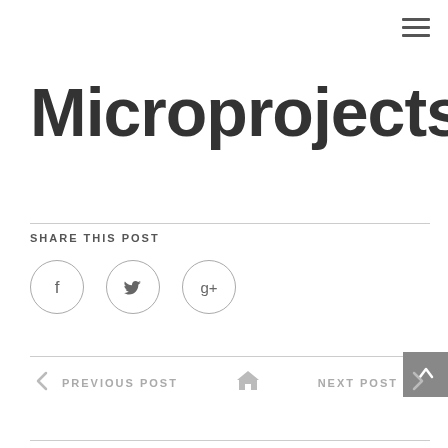[Figure (other): Hamburger menu icon (three horizontal lines) in top right corner]
Microprojects of
SHARE THIS POST
[Figure (other): Three social media icon circles: Facebook (f), Twitter (bird), Google+ (g+)]
PREVIOUS POST   [home icon]   NEXT POST